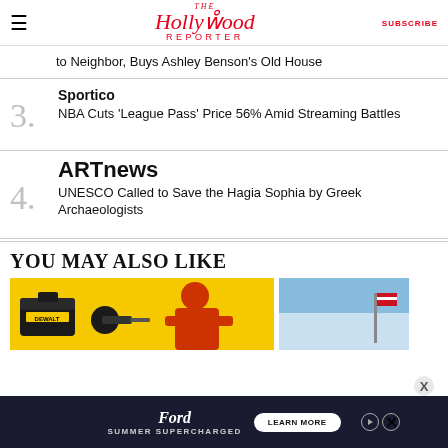The Hollywood Reporter | SUBSCRIBE
to Neighbor, Buys Ashley Benson's Old House
Sportico
3. NBA Cuts 'League Pass' Price 56% Amid Streaming Battles
ARTnews
4. UNESCO Called to Save the Hagia Sophia by Greek Archaeologists
YOU MAY ALSO LIKE
[Figure (photo): DeWalt tools advertisement image on yellow background]
[Figure (photo): Second article thumbnail with blue sky background]
[Figure (advertisement): Ford Summer Supercharged advertisement banner with Learn More button]